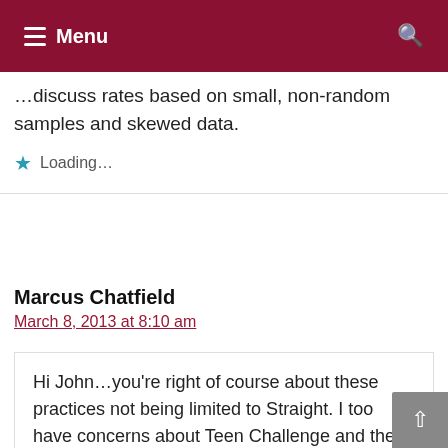Menu
…discuss rates based on small, non-random samples and skewed data.
Loading…
Marcus Chatfield
March 8, 2013 at 8:10 am
Hi John…you're right of course about these practices not being limited to Straight. I too have concerns about Teen Challenge and the rest of the